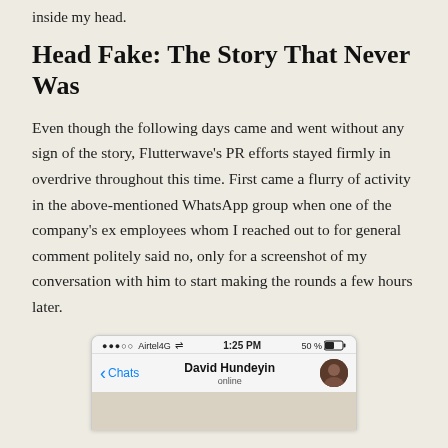inside my head.
Head Fake: The Story That Never Was
Even though the following days came and went without any sign of the story, Flutterwave's PR efforts stayed firmly in overdrive throughout this time. First came a flurry of activity in the above-mentioned WhatsApp group when one of the company's ex employees whom I reached out to for general comment politely said no, only for a screenshot of my conversation with him to start making the rounds a few hours later.
[Figure (screenshot): A smartphone screenshot showing a WhatsApp chat interface. Status bar shows '●●●○○ Airtel4G' signal, '1:25 PM' time, and '50%' battery. The chat header shows a back arrow with 'Chats' label, the contact name 'David Hundeyin' with 'online' status, and a profile avatar. Below is the beginning of the chat area.]